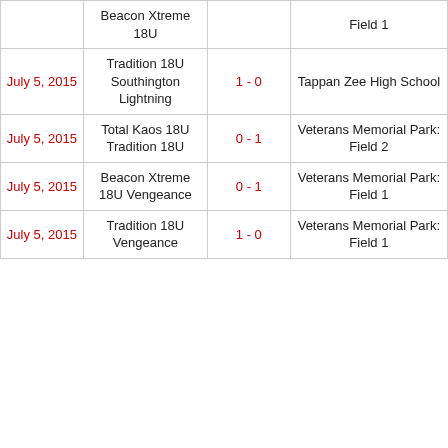|  | Beacon Xtreme 18U |  | Field 1 |
| --- | --- | --- | --- |
| July 5, 2015 | Tradition 18U
Southington Lightning | 1 - 0 | Tappan Zee High School |
| July 5, 2015 | Total Kaos 18U
Tradition 18U | 0 - 1 | Veterans Memorial Park: Field 2 |
| July 5, 2015 | Beacon Xtreme 18U
Vengeance | 0 - 1 | Veterans Memorial Park: Field 1 |
| July 5, 2015 | Tradition 18U
Vengeance | 1 - 0 | Veterans Memorial Park: Field 1 |